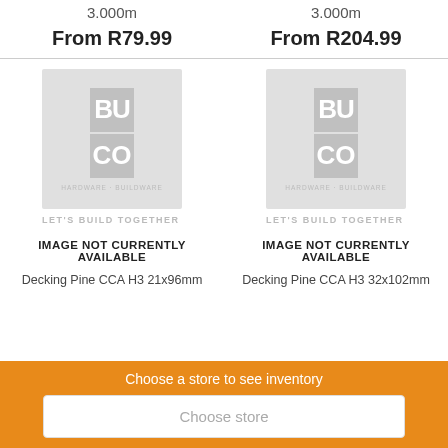3.000m
3.000m
From R79.99
From R204.99
[Figure (logo): BUCO Hardware Buildware placeholder image with LET'S BUILD TOGETHER tagline - left]
IMAGE NOT CURRENTLY AVAILABLE
Decking Pine CCA H3 21x96mm
[Figure (logo): BUCO Hardware Buildware placeholder image with LET'S BUILD TOGETHER tagline - right]
IMAGE NOT CURRENTLY AVAILABLE
Decking Pine CCA H3 32x102mm
Choose a store to see inventory
Choose store